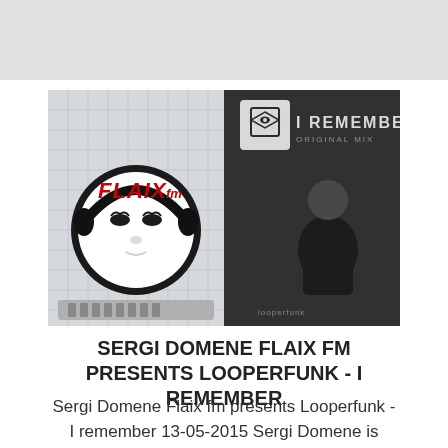[Figure (photo): Gray banner area at the top of the page, light gray rectangle]
[Figure (photo): Composite image: left half shows Flaix FM radio logo (stylized white face mascot with headphones and red FLAIX fm text) against a graph-paper style background; right half shows a black-and-white album cover 'I REMEMBER - ORIGINAL MIX' by La Boîte, featuring a person holding their head in their hands on a park bench]
SERGI DOMENE FLAIX FM PRESENTS LOOPERFUNK - I REMEMBER
Sergi Domene Flaix fm presents Looperfunk - I remember 13-05-2015 Sergi Domene is